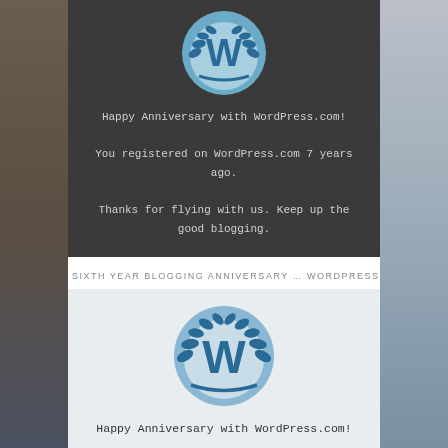[Figure (logo): WordPress.com anniversary badge - dark background with WordPress W logo in blue laurel wreath circle]
Happy Anniversary with WordPress.com!

You registered on WordPress.com 7 years ago.

Thanks for flying with us. Keep up the good blogging.
SIXTH YEAR BLOGGING ANNIVERSARY … WORDPRESS
[Figure (logo): WordPress.com anniversary badge - light grey background with WordPress W logo in blue laurel wreath circle]
Happy Anniversary with WordPress.com!